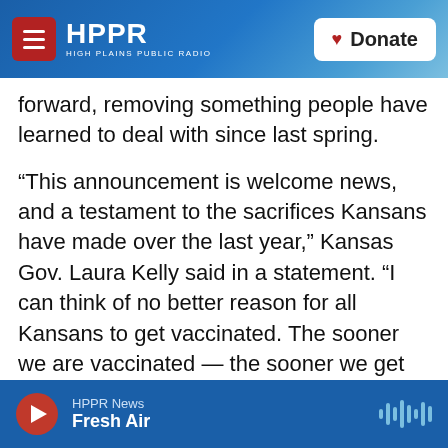HPPR — HIGH PLAINS PUBLIC RADIO | Donate
forward, removing something people have learned to deal with since last spring.
“This announcement is welcome news, and a testament to the sacrifices Kansans have made over the last year,” Kansas Gov. Laura Kelly said in a statement. “I can think of no better reason for all Kansans to get vaccinated. The sooner we are vaccinated — the sooner we get back to normal.”
Nearly 40% of all Kansans are vaccinated, although the demand for the vaccine has fallen in recent weeks. The state opened up vaccinations this
HPPR News | Fresh Air